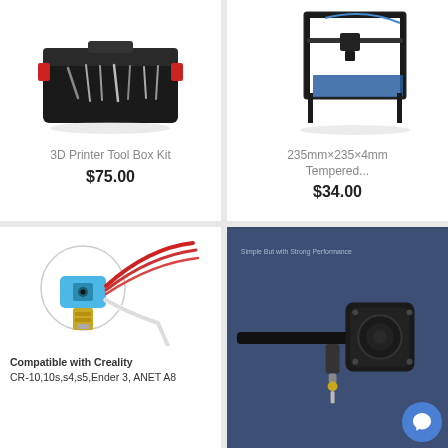[Figure (photo): 3D printer tool box kit in black case with tools and red accents]
3D Printer Tool Box Kit
$75.00
[Figure (photo): 235mm×235×4mm tempered glass bed on a 3D printer frame]
235mm×235×4mm Tempered...
$34.00
[Figure (photo): 3D printer hotend extruder assembly with blue silicone sock and red cable]
Compatible with Creality CR-10,10s,s4,s5,Ender 3, ANET A8
[Figure (photo): 3D printer with dark blue background showing extruder detail, text 'Simple But with Strong Performance']